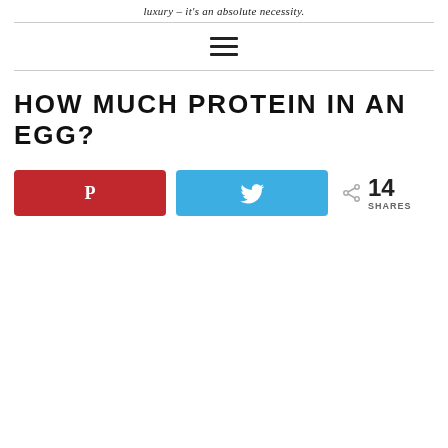luxury – it's an absolute necessity.
HOW MUCH PROTEIN IN AN EGG?
14 SHARES